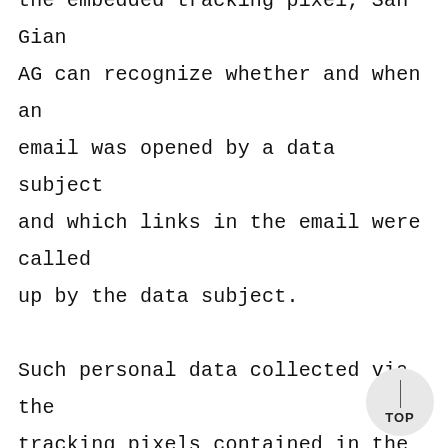the embedded tracking pixel, San Gian AG can recognize whether and when an email was opened by a data subject and which links in the email were called up by the data subject. Such personal data collected via the tracking pixels contained in the newsletters are stored and evaluated by the data controller in order to optimize the sending of the newsletter and to adapt the content of future newsletters even better to the interests of the person concerned. This personal data will not be passed on to third parties. Affected persons